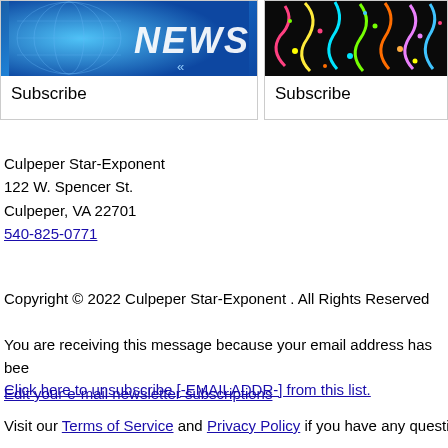[Figure (photo): News banner image with globe and 'NEWS' text in blue tones]
Subscribe
[Figure (photo): Colorful confetti/streamers celebration image on black background]
Subscribe
[Figure (illustration): Row of repeating green/grey decorative divider icons]
Culpeper Star-Exponent
122 W. Spencer St.
Culpeper, VA 22701
540-825-0771
Copyright © 2022 Culpeper Star-Exponent . All Rights Reserved
You are receiving this message because your email address has been
Click here to unsubscribe [-EMAILADDR-] from this list.
Edit your e-mail newsletter subscriptions
Visit our Terms of Service and Privacy Policy if you have any question